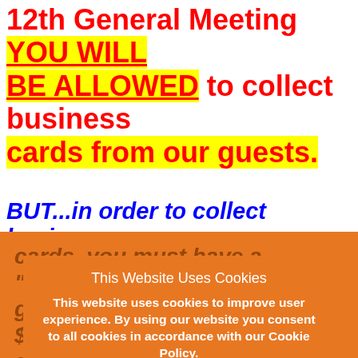12th General Meeting YOU WILL BE ALLOWED to collect business cards from our guests.
BUT...in order to collect business cards, you must have a "tangible" gift with a minimum value of $25 to give away.
(A tangible gift = gift cards, bottle of wine, gift basket, etc. You cannot promote your services, products, etc. for your own business. It must be something that the winner can
This Website Uses Cookies
This website uses cookies to improve user experience. By using our website you consent to all cookies in accordance with our Cookie Policy.
What is a Cookie?
Ok, I got it!
View Cookies and Privacy Policy